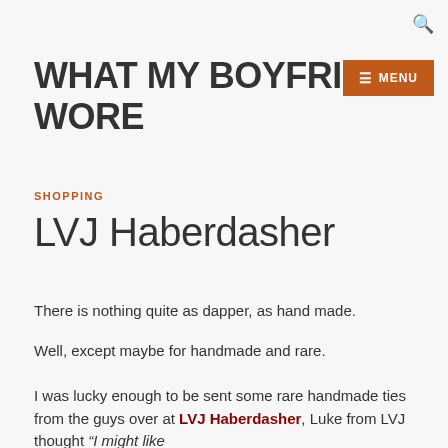WHAT MY BOYFRIEND WORE
WHAT MY BOYFRIEND WORE
SHOPPING
LVJ Haberdasher
There is nothing quite as dapper, as hand made.
Well, except maybe for handmade and rare.
I was lucky enough to be sent some rare handmade ties from the guys over at LVJ Haberdasher, Luke from LVJ thought “I might like